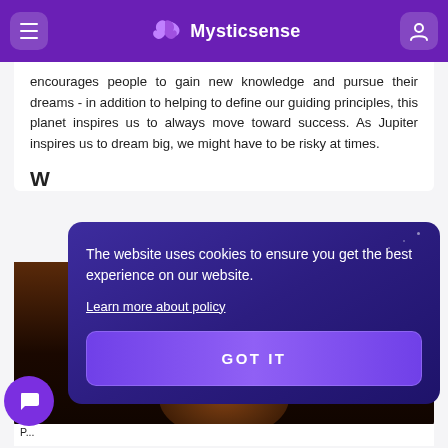Mysticsense
encourages people to gain new knowledge and pursue their dreams - in addition to helping to define our guiding principles, this planet inspires us to always move toward success. As Jupiter inspires us to dream big, we might have to be risky at times.
W
[Figure (screenshot): Cookie consent modal overlay on purple/dark background with text: 'The website uses cookies to ensure you get the best experience on our website.' and a 'Learn more about policy' link, and a 'GOT IT' button.]
The website uses cookies to ensure you get the best experience on our website.
Learn more about policy
GOT IT
P...